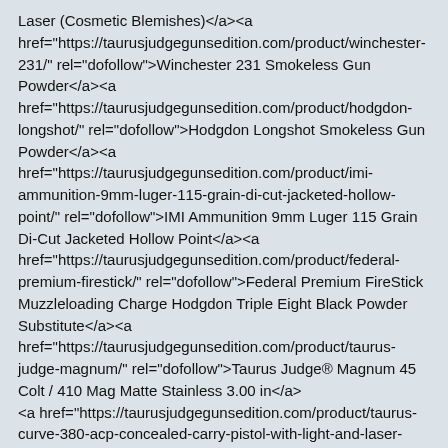Laser (Cosmetic Blemishes)</a><a href="https://taurusjudgegunsedition.com/product/winchester-231/" rel="dofollow">Winchester 231 Smokeless Gun Powder</a><a href="https://taurusjudgegunsedition.com/product/hodgdon-longshot/" rel="dofollow">Hodgdon Longshot Smokeless Gun Powder</a><a href="https://taurusjudgegunsedition.com/product/imi-ammunition-9mm-luger-115-grain-di-cut-jacketed-hollow-point/" rel="dofollow">IMI Ammunition 9mm Luger 115 Grain Di-Cut Jacketed Hollow Point</a><a href="https://taurusjudgegunsedition.com/product/federal-premium-firestick/" rel="dofollow">Federal Premium FireStick Muzzleloading Charge Hodgdon Triple Eight Black Powder Substitute</a><a href="https://taurusjudgegunsedition.com/product/taurus-judge-magnum/" rel="dofollow">Taurus Judge® Magnum 45 Colt / 410 Mag Matte Stainless 3.00 in</a>
<a href="https://taurusjudgegunsedition.com/product/taurus-curve-380-acp-concealed-carry-pistol-with-light-and-laser-cosmetic-blemishes/" rel="dofollow">Taurus Curve 380 ACP Concealed Carry Pistol with Light and Laser (Cosmetic Blemishes)</a>
<a href="https://taurusjudgegunsedition.com/product/taurus-pt22/" rel="dofollow">Taurus PT22 Rosewood 22LR Rimfire Pistol with Rosewood Grips</a>
<a href="https://taurusjudgegunsedition.com/product/taurus-judge-public-defender-poly/" rel="dofollow">Taurus Judge Public Defender Poly 45LC/.410 Double-Action Revolver with 2.5 inch Barrel and Gray Finish</a>